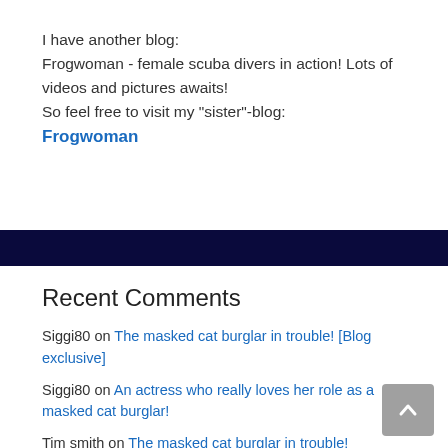I have another blog:
Frogwoman - female scuba divers in action! Lots of videos and pictures awaits!
So feel free to visit my "sister"-blog:
Frogwoman
Recent Comments
Siggi80 on The masked cat burglar in trouble! [Blog exclusive]
Siggi80 on An actress who really loves her role as a masked cat burglar!
Tim smith on The masked cat burglar in trouble!